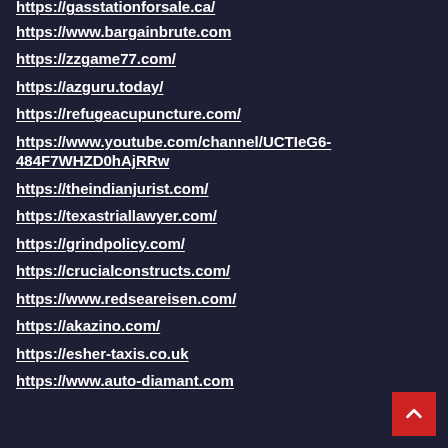https://gasstationforsale.ca/
https://www.bargainbrute.com
https://zzgame77.com/
https://azguru.today/
https://refugeacupuncture.com/
https://www.youtube.com/channel/UCTIeG6-484F7WHZD0hAjRRw
https://theindianjurist.com/
https://texastriallawyer.com/
https://grindpolicy.com/
https://crucialconstructs.com/
https://www.redseareisen.com/
https://akazino.com/
https://esher-taxis.co.uk
https://www.auto-diamant.com